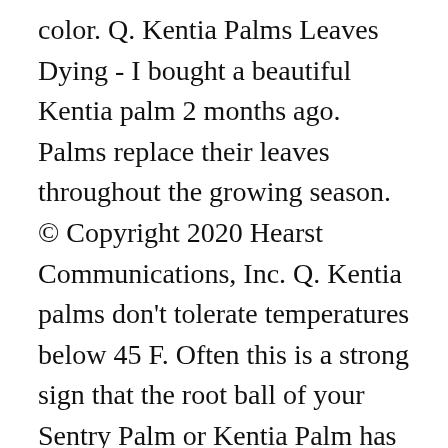color. Q. Kentia Palms Leaves Dying - I bought a beautiful Kentia palm 2 months ago. Palms replace their leaves throughout the growing season. © Copyright 2020 Hearst Communications, Inc. Q. Kentia palms don't tolerate temperatures below 45 F. Often this is a strong sign that the root ball of your Sentry Palm or Kentia Palm has been allowed to dry out, usually during the warmer months of the year. Hunker may earn compensation through affiliate links in this story. The kentia palm is usually sold with two to five palms planted together, appearing to have multiple stems topped with graceful, arching foliage. If browning is severe, overwatering and accompanied rotting of the roots could be the